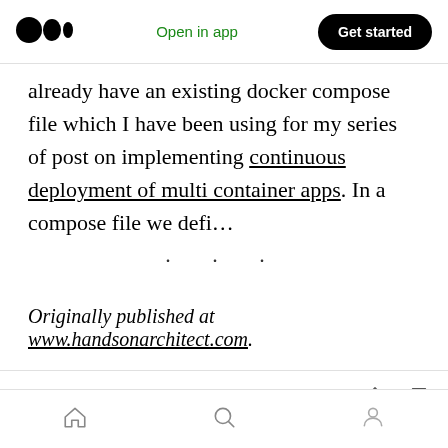Medium logo | Open in app | Get started
already have an existing docker compose file which I have been using for my series of post on implementing continuous deployment of multi container apps. In a compose file we defi…
· · ·
Originally published at www.handsonarchitect.com.
Action bar: clap 2, comment, share, bookmark | Bottom nav: home, search, profile